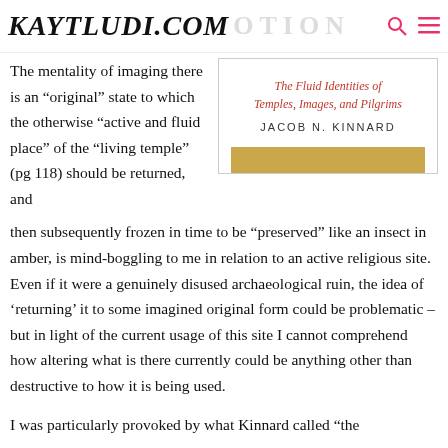KAYTLUDI.COM
The mentality of imaging there is an “original” state to which the otherwise “active and fluid place” of the “living temple” (pg 118) should be returned, and
[Figure (illustration): Book cover showing title 'The Fluid Identities of Temples, Images, and Pilgrims' by Jacob N. Kinnard with a gold bar at the bottom]
then subsequently frozen in time to be “preserved” like an insect in amber, is mind-boggling to me in relation to an active religious site. Even if it were a genuinely disused archaeological ruin, the idea of ‘returning’ it to some imagined original form could be problematic – but in light of the current usage of this site I cannot comprehend how altering what is there currently could be anything other than destructive to how it is being used.
I was particularly provoked by what Kinnard called “the